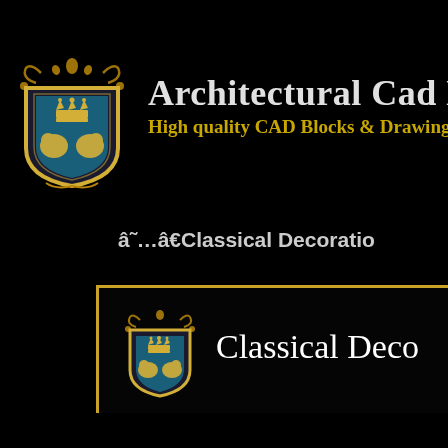[Figure (logo): Heraldic shield logo with crown and lions, gold and teal coloring]
Architectural Cad Drawi
High quality CAD Blocks & Drawings Do
â˜…â€Classical Decoratio
[Figure (logo): Heraldic shield logo repeated, gold and teal coloring]
Classical Deco